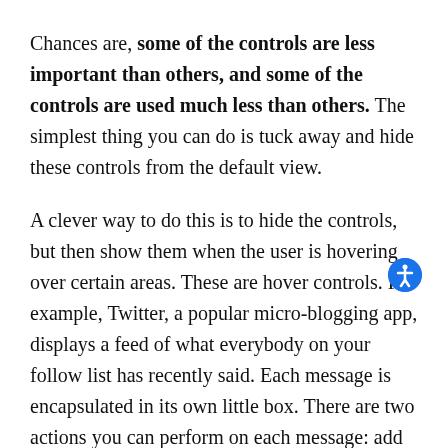Chances are, some of the controls are less important than others, and some of the controls are used much less than others. The simplest thing you can do is tuck away and hide these controls from the default view.
A clever way to do this is to hide the controls, but then show them when the user is hovering over certain areas. These are hover controls. For example, Twitter, a popular micro-blogging app, displays a feed of what everybody on your follow list has recently said. Each message is encapsulated in its own little box. There are two actions you can perform on each message: add it to your favorites or reply to it.